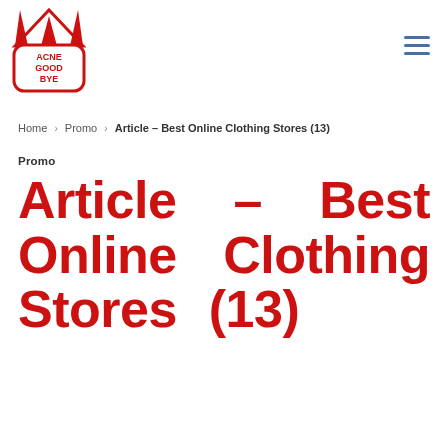[Figure (logo): Acne Goodbye logo: red market stall tent icon above a red rounded rectangle containing text ACNE GOOD BYE in red]
Home > Promo > Article – Best Online Clothing Stores (13)
Promo
Article – Best Online Clothing Stores (13)